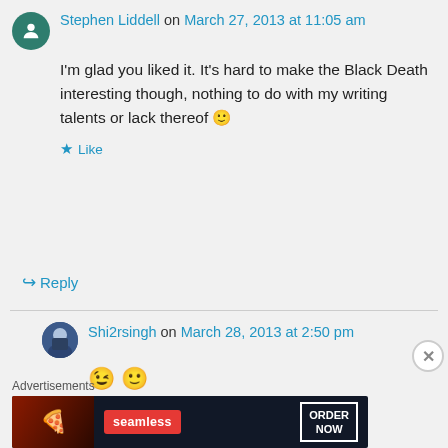Stephen Liddell on March 27, 2013 at 11:05 am
I'm glad you liked it. It's hard to make the Black Death interesting though, nothing to do with my writing talents or lack thereof 🙂
★ Like
↳ Reply
Shi2rsingh on March 28, 2013 at 2:50 pm
😉 🙂
Advertisements
[Figure (other): Seamless food ordering advertisement banner with pizza image, Seamless logo, and ORDER NOW button]